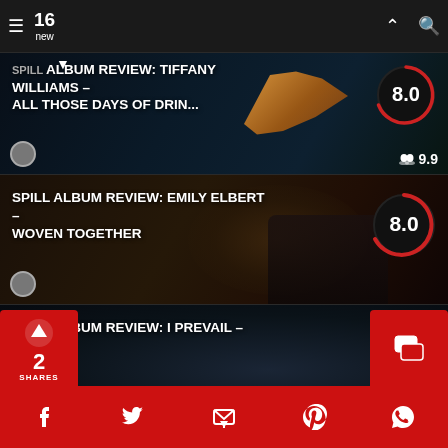16 new
SPILL ALBUM REVIEW: TIFFANY WILLIAMS – ALL THOSE DAYS OF DRIN...
8.0
9.9
SPILL ALBUM REVIEW: EMILY ELBERT – WOVEN TOGETHER
8.0
SPILL ALBUM REVIEW: I PREVAIL – TRUE POWER
8.0
9.6
ALBUM REVIEW: ELAINE HOWLEY – DISTANCE BETWEEN HEAR
8
2 SHARES